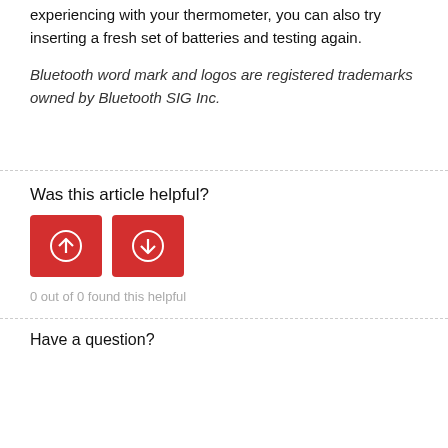experiencing with your thermometer, you can also try inserting a fresh set of batteries and testing again.
Bluetooth word mark and logos are registered trademarks owned by Bluetooth SIG Inc.
Was this article helpful?
[Figure (other): Two red square buttons with up-arrow and down-arrow icons (thumbs up/thumbs down) for article feedback]
0 out of 0 found this helpful
Have a question?